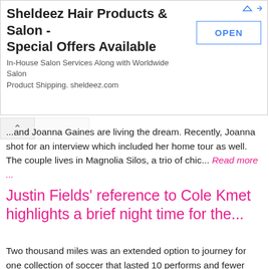[Figure (other): Advertisement banner for Sheldeez Hair Products & Salon with OPEN button]
...and Joanna Gaines are living the dream. Recently, Joanna shot for an interview which included her home tour as well. The couple lives in Magnolia Silos, a trio of chic... Read more ...
Justin Fields' reference to Cole Kmet highlights a brief night time for the...
Two thousand miles was an extended option to journey for one collection of soccer that lasted 10 performs and fewer than six minutes. But Chicago Bears quarterback Justin... Read more ...
Ready to Grow Out Your Pixie Cut? Read This First
[Figure (photo): Photo of a person with a short pixie haircut outdoors]